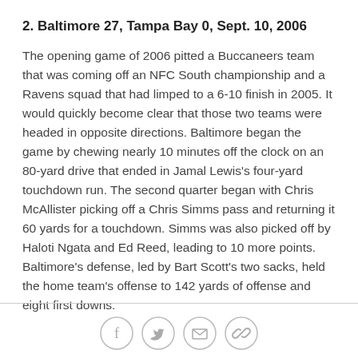2. Baltimore 27, Tampa Bay 0, Sept. 10, 2006
The opening game of 2006 pitted a Buccaneers team that was coming off an NFC South championship and a Ravens squad that had limped to a 6-10 finish in 2005. It would quickly become clear that those two teams were headed in opposite directions. Baltimore began the game by chewing nearly 10 minutes off the clock on an 80-yard drive that ended in Jamal Lewis's four-yard touchdown run. The second quarter began with Chris McAllister picking off a Chris Simms pass and returning it 60 yards for a touchdown. Simms was also picked off by Haloti Ngata and Ed Reed, leading to 10 more points. Baltimore's defense, led by Bart Scott's two sacks, held the home team's offense to 142 yards of offense and eight first downs.
[Figure (other): Social sharing icons: Facebook, Twitter, Email, Link]